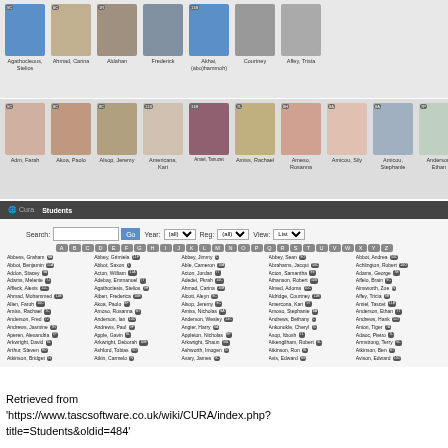[Figure (screenshot): Screenshot of CURA student management system showing student photo grid and list view with alphabetical navigation, search controls, and student names with class badges.]
Retrieved from 'https://www.tascsoftware.co.uk/wiki/CURA/index.php?title=Students&oldid=484'